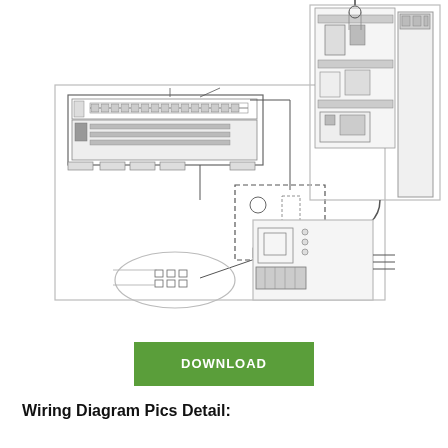[Figure (engineering-diagram): Two wiring/connection diagrams side by side. Left diagram shows a control panel/terminal board with wiring connections, a junction box with dashed outline, and an elliptical callout showing connector detail. Right diagram shows an electrical enclosure with cable entry from top and a DIN rail mounted control panel below.]
DOWNLOAD
Wiring Diagram Pics Detail: